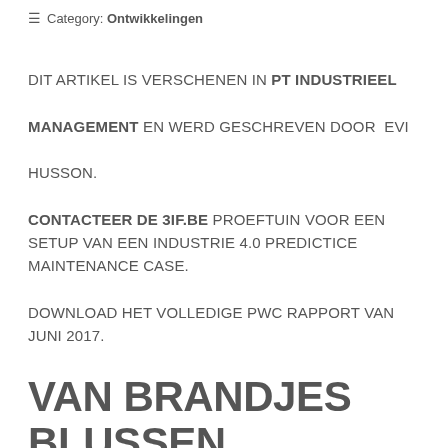≡ Category: Ontwikkelingen
DIT ARTIKEL IS VERSCHENEN IN PT INDUSTRIEEL MANAGEMENT EN WERD GESCHREVEN DOOR EVI HUSSON.

CONTACTEER DE 3IF.BE PROEFTUIN VOOR EEN SETUP VAN EEN INDUSTRIE 4.0 PREDICTICE MAINTENANCE CASE.

DOWNLOAD HET VOLLEDIGE PWC RAPPORT VAN JUNI 2017.
VAN BRANDJES BLUSSEN